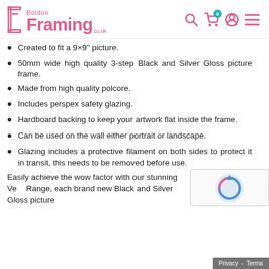Boldon Framing .co.uk
Created to fit a 9×9" picture.
50mm wide high quality 3-step Black and Silver Gloss picture frame.
Made from high quality polcore.
Includes perspex safety glazing.
Hardboard backing to keep your artwork flat inside the frame.
Can be used on the wall either portrait or landscape.
Glazing includes a protective filament on both sides to protect it in transit, this needs to be removed before use.
Easily achieve the wow factor with our stunning Ve... Range, each brand new Black and Silver Gloss picture...